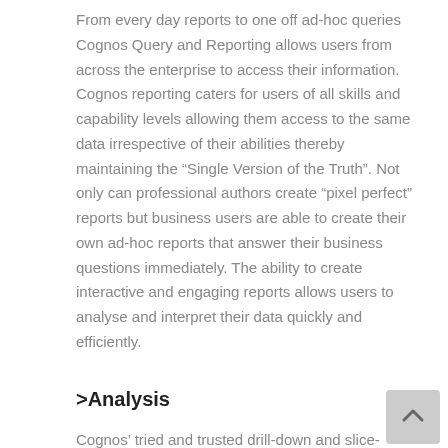From every day reports to one off ad-hoc queries Cognos Query and Reporting allows users from across the enterprise to access their information. Cognos reporting caters for users of all skills and capability levels allowing them access to the same data irrespective of their abilities thereby maintaining the “Single Version of the Truth”. Not only can professional authors create “pixel perfect” reports but business users are able to create their own ad-hoc reports that answer their business questions immediately. The ability to create interactive and engaging reports allows users to analyse and interpret their data quickly and efficiently.
>Analysis
Cognos’ tried and trusted drill-down and slice-